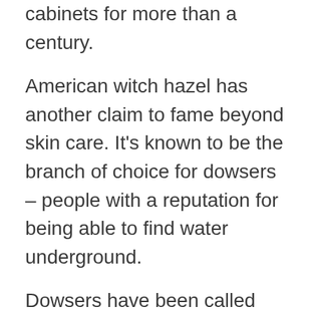cabinets for more than a century.
American witch hazel has another claim to fame beyond skin care. It's known to be the branch of choice for dowsers – people with a reputation for being able to find water underground.
Dowsers have been called upon to help locate good spots to drill water wells for a home or a farm.
According to the U.S. Forest Service, early European settlers saw American Indians using witch hazel branches to find underground sources of water.
“This activity is probably where the common name witchhazel came from. ‘Wicke’ is the Middle English for ‘lively’ and ‘wych’ is from the Anglo-Saxon word for ‘bend.’ American witchhazel was probably called a Wicke